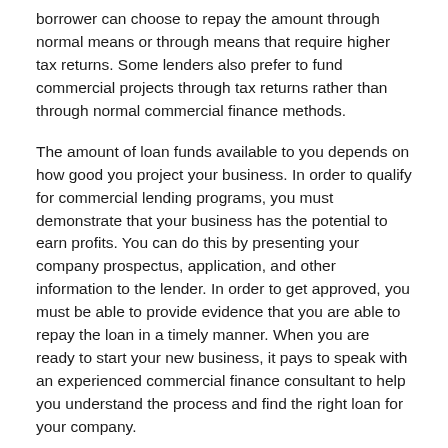borrower can choose to repay the amount through normal means or through means that require higher tax returns. Some lenders also prefer to fund commercial projects through tax returns rather than through normal commercial finance methods.
The amount of loan funds available to you depends on how good you project your business. In order to qualify for commercial lending programs, you must demonstrate that your business has the potential to earn profits. You can do this by presenting your company prospectus, application, and other information to the lender. In order to get approved, you must be able to provide evidence that you are able to repay the loan in a timely manner. When you are ready to start your new business, it pays to speak with an experienced commercial finance consultant to help you understand the process and find the right loan for your company.